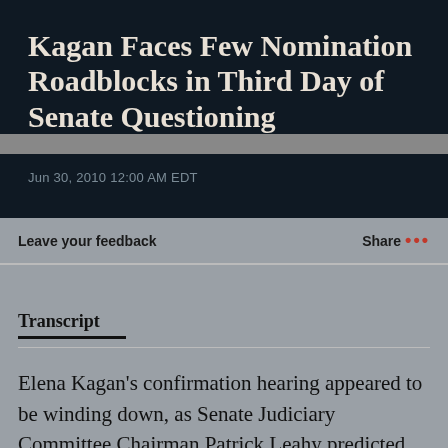Kagan Faces Few Nomination Roadblocks in Third Day of Senate Questioning
Jun 30, 2010 12:00 AM EDT
Leave your feedback
Share ...
Transcript
Elena Kagan's confirmation hearing appeared to be winding down, as Senate Judiciary Committee Chairman Patrick Leahy predicted she would be confirmed to the Supreme Court.